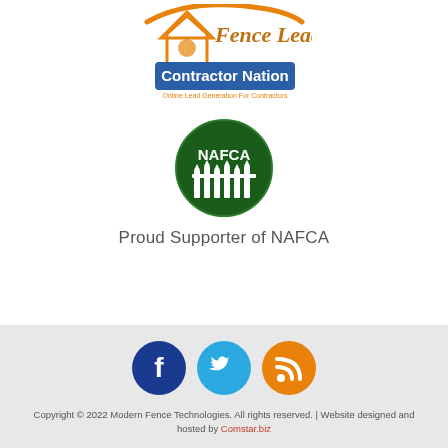[Figure (logo): Fence Leads / Contractor Nation logo with orange swoosh, blue box, and orange tagline 'Online Lead Generation For Contractors']
[Figure (logo): NAFCA circular dark green logo with fence pickets and text 'NAFCA']
Proud Supporter of NAFCA
[Figure (illustration): Three social media icon circles: Facebook (dark blue), Twitter (light blue), RSS feed (orange)]
Copyright © 2022 Modern Fence Technologies. All rights reserved. | Website designed and hosted by Comstar.biz